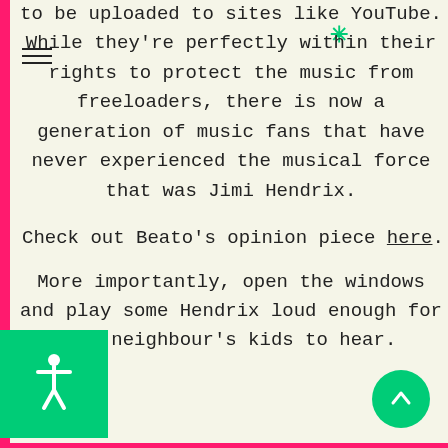to be uploaded to sites like YouTube. While they're perfectly within their rights to protect the music from freeloaders, there is now a generation of music fans that have never experienced the musical force that was Jimi Hendrix.
Check out Beato's opinion piece here.
More importantly, open the windows and play some Hendrix loud enough for the neighbour's kids to hear.